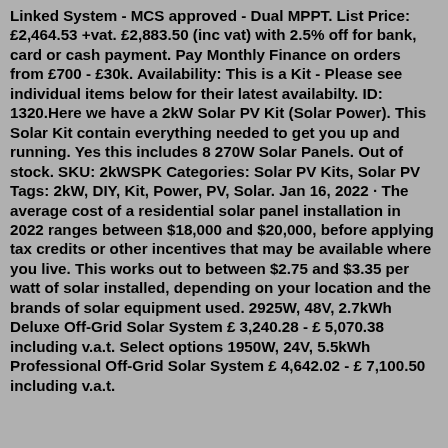Linked System - MCS approved - Dual MPPT. List Price: £2,464.53 +vat. £2,883.50 (inc vat) with 2.5% off for bank, card or cash payment. Pay Monthly Finance on orders from £700 - £30k. Availability: This is a Kit - Please see individual items below for their latest availabilty. ID: 1320.Here we have a 2kW Solar PV Kit (Solar Power). This Solar Kit contain everything needed to get you up and running. Yes this includes 8 270W Solar Panels. Out of stock. SKU: 2kWSPK Categories: Solar PV Kits, Solar PV Tags: 2kW, DIY, Kit, Power, PV, Solar. Jan 16, 2022 · The average cost of a residential solar panel installation in 2022 ranges between $18,000 and $20,000, before applying tax credits or other incentives that may be available where you live. This works out to between $2.75 and $3.35 per watt of solar installed, depending on your location and the brands of solar equipment used. 2925W, 48V, 2.7kWh Deluxe Off-Grid Solar System £ 3,240.28 - £ 5,070.38 including v.a.t. Select options 1950W, 24V, 5.5kWh Professional Off-Grid Solar System £ 4,642.02 - £ 7,100.50 including v.a.t.